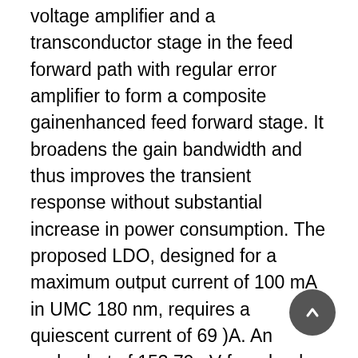voltage amplifier and a transconductor stage in the feed forward path with regular error amplifier to form a composite gainenhanced feed forward stage. It broadens the gain bandwidth and thus improves the transient response without substantial increase in power consumption. The proposed LDO, designed for a maximum output current of 100 mA in UMC 180 nm, requires a quiescent current of 69 )A. An undershot of 153.79mV for a load current changes from 0mA to 100mA and an overshoot of 196.24mV for current change of 100mA to 0mA. The settling time is approximately 1.1 )s for the output voltage undershooting case. The load regulation is of 2.77 )V/mA at load current of 100mA. Reference voltage is generated by using an accurate band gap reference circuit of 0.8V.The costly features of SOC such as total chip area and power consumption is drastically reduced by the use of only a total compensation